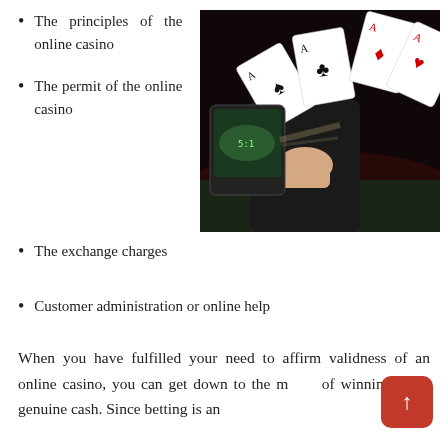The principles of the online casino
The permit of the online casino
[Figure (photo): A person in dark clothing holding playing cards with cards flying through the air, next to a casino gaming device with a dark dramatic background]
The exchange charges
Customer administration or online help
When you have fulfilled your need to affirm validness of an online casino, you can get down to the m… of winning some genuine cash. Since betting is an